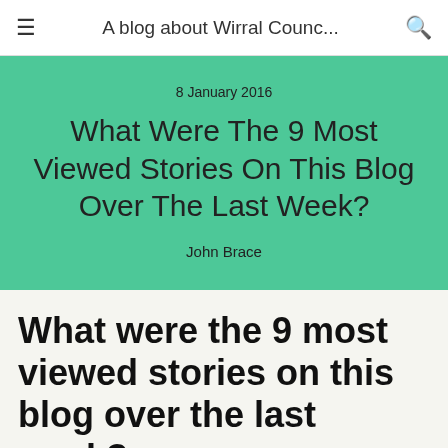A blog about Wirral Counc...
8 January 2016
What Were The 9 Most Viewed Stories On This Blog Over The Last Week?
John Brace
What were the 9 most viewed stories on this blog over the last week?